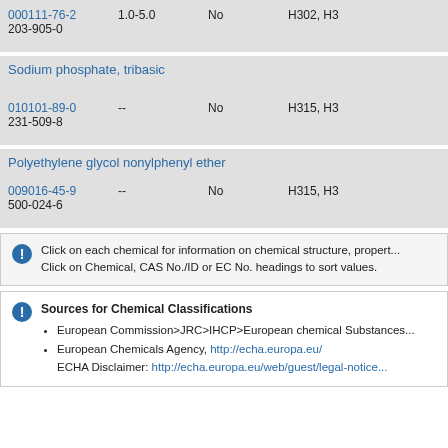| Chemical | CAS No./ID | Concentration (%) | Regulated | Hazard Statements |
| --- | --- | --- | --- | --- |
| 000111-76-2
203-905-0 | 1.0-5.0 | No | H302, H3... |
| Sodium phosphate, tribasic
010101-89-0
231-509-8 | -- | No | H315, H3... |
| Polyethylene glycol nonylphenyl ether
009016-45-9
500-024-6 | -- | No | H315, H3... |
Click on each chemical for information on chemical structure, properties... Click on Chemical, CAS No./ID or EC No. headings to sort values.
Sources for Chemical Classifications
• European Commission>JRC>IHCP>European chemical Substances...
• European Chemicals Agency, http://echa.europa.eu/
ECHA Disclaimer: http://echa.europa.eu/web/guest/legal-notice...